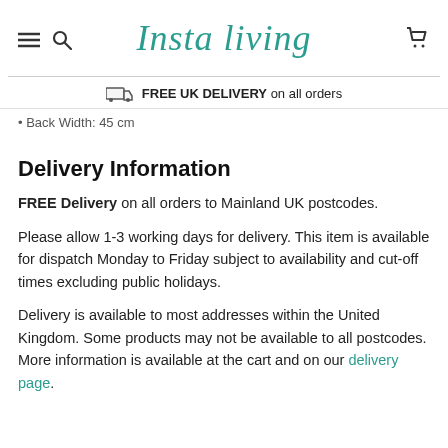Insta Living
FREE UK DELIVERY on all orders
Back Width: 45 cm
Delivery Information
FREE Delivery on all orders to Mainland UK postcodes.
Please allow 1-3 working days for delivery. This item is available for dispatch Monday to Friday subject to availability and cut-off times excluding public holidays.
Delivery is available to most addresses within the United Kingdom. Some products may not be available to all postcodes. More information is available at the cart and on our delivery page.